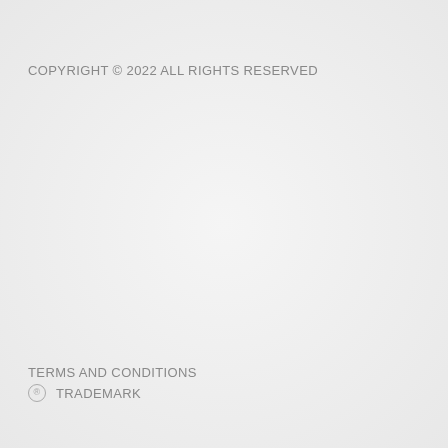COPYRIGHT © 2022 ALL RIGHTS RESERVED
TERMS AND CONDITIONS
® TRADEMARK